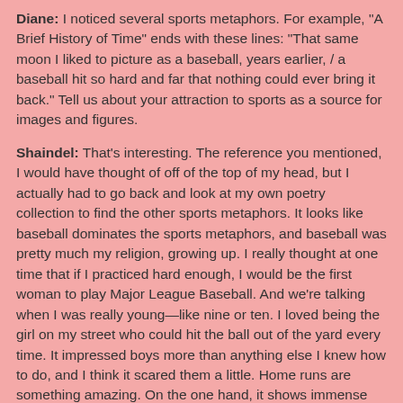Diane: I noticed several sports metaphors. For example, "A Brief History of Time" ends with these lines: "That same moon I liked to picture as a baseball, years earlier, / a baseball hit so hard and far that nothing could ever bring it back." Tell us about your attraction to sports as a source for images and figures.
Shaindel: That's interesting. The reference you mentioned, I would have thought of off of the top of my head, but I actually had to go back and look at my own poetry collection to find the other sports metaphors. It looks like baseball dominates the sports metaphors, and baseball was pretty much my religion, growing up. I really thought at one time that if I practiced hard enough, I would be the first woman to play Major League Baseball. And we're talking when I was really young—like nine or ten. I loved being the girl on my street who could hit the ball out of the yard every time. It impressed boys more than anything else I knew how to do, and I think it scared them a little. Home runs are something amazing. On the one hand, it shows immense strength, but then, it sort of lets you off the hook; you don't have to hustle around the bases if you've knocked it out of the park. There's something